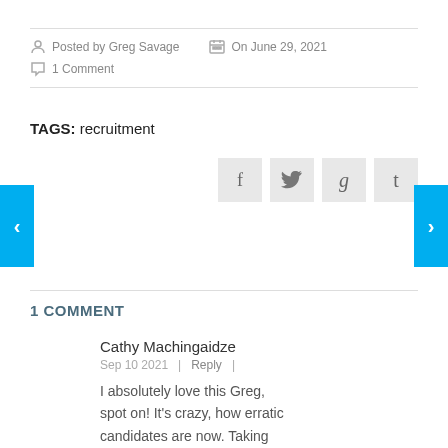Posted by Greg Savage  On June 29, 2021  1 Comment
TAGS: recruitment
[Figure (infographic): Social share buttons: Facebook (f), Twitter (bird), Google+ (g), Tumblr (t)]
[Figure (infographic): Left navigation arrow (blue background, white chevron)]
[Figure (infographic): Right navigation arrow (blue background, white chevron)]
1 COMMENT
Cathy Machingaidze
Sep 10 2021  |  Reply  |
I absolutely love this Greg, spot on! It's crazy, how erratic candidates are now. Taking